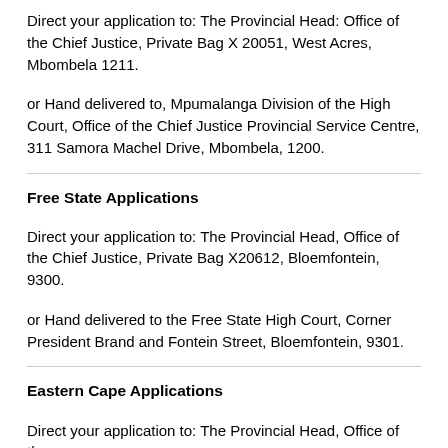Direct your application to: The Provincial Head: Office of the Chief Justice, Private Bag X 20051, West Acres, Mbombela 1211.
or Hand delivered to, Mpumalanga Division of the High Court, Office of the Chief Justice Provincial Service Centre, 311 Samora Machel Drive, Mbombela, 1200.
Free State Applications
Direct your application to: The Provincial Head, Office of the Chief Justice, Private Bag X20612, Bloemfontein, 9300.
or Hand delivered to the Free State High Court, Corner President Brand and Fontein Street, Bloemfontein, 9301.
Eastern Cape Applications
Direct your application to: The Provincial Head, Office of the